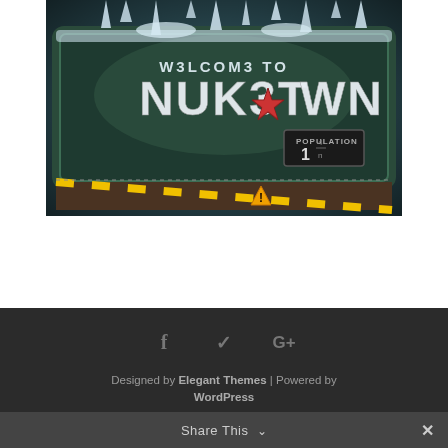[Figure (photo): Welcome to Nuketown sign from a video game, styled with Cyrillic-like letters reading 'W3LCOM3 TO NUK3T0WN', with icicles, a red Soviet star, and a population sign reading '1'. Dark teal background with snow effects, bottom shows a hazard-striped barrier.]
f  ✓  G+
Designed by Elegant Themes | Powered by WordPress
Share This ˅  ✕